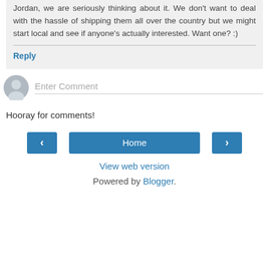Jordan, we are seriously thinking about it. We don't want to deal with the hassle of shipping them all over the country but we might start local and see if anyone's actually interested. Want one? :)
Reply
Enter Comment
Hooray for comments!
‹
Home
›
View web version
Powered by Blogger.